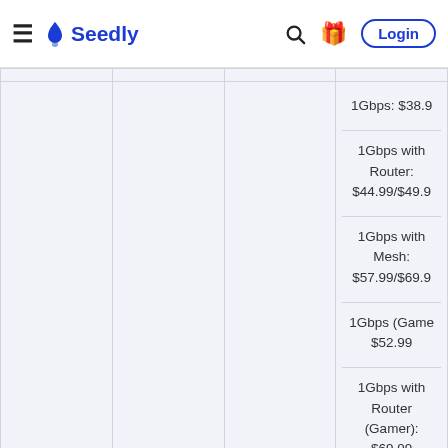Seedly — navigation bar with hamburger menu, Seedly logo, search icon, gift icon, Login button
|  |  |  | Prices |
| --- | --- | --- | --- |
|  |  |  | 1Gbps: $38.9 |
|  |  |  | 1Gbps with Router: $44.99/$49.9 |
|  |  |  | 1Gbps with Mesh: $57.99/$69.9 |
|  |  |  | 1Gbps (Gamer): $52.99 |
|  |  |  | 1Gbps with Router (Gamer): $69.99 |
|  | 1Gbps: |  |  |